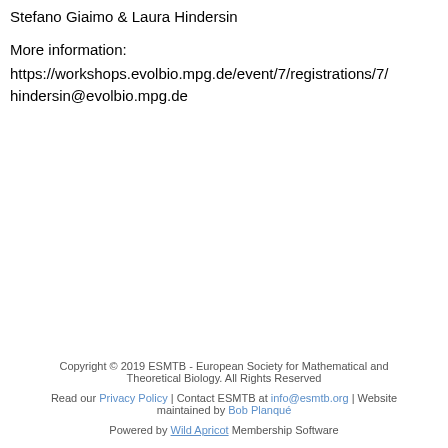Stefano Giaimo & Laura Hindersin
More information:
https://workshops.evolbio.mpg.de/event/7/registrations/7/
hindersin@evolbio.mpg.de
Copyright © 2019 ESMTB - European Society for Mathematical and Theoretical Biology. All Rights Reserved
Read our Privacy Policy | Contact ESMTB at info@esmtb.org | Website maintained by Bob Planqué
Powered by Wild Apricot Membership Software